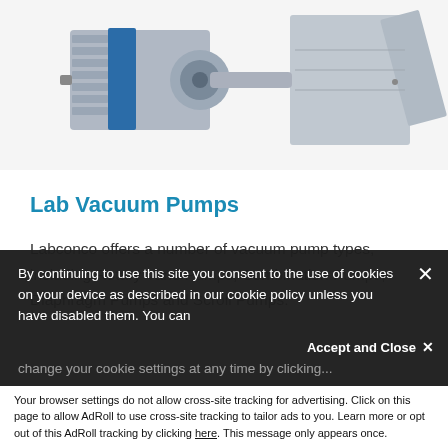[Figure (photo): Photograph of lab vacuum pump equipment — shows a blue and grey rotary vane pump and another grey unit with open panel, on a white background.]
Lab Vacuum Pumps
Labconco offers a number of vacuum pump types, including Rotary Vane Pumps, Combination Pumps, Diaphragm Pumps and Scroll Pumps.
By continuing to use this site you consent to the use of cookies on your device as described in our cookie policy unless you have disabled them. You can
Accept and Close
Your browser settings do not allow cross-site tracking for advertising. Click on this page to allow AdRoll to use cross-site tracking to tailor ads to you. Learn more or opt out of this AdRoll tracking by clicking here. This message only appears once.